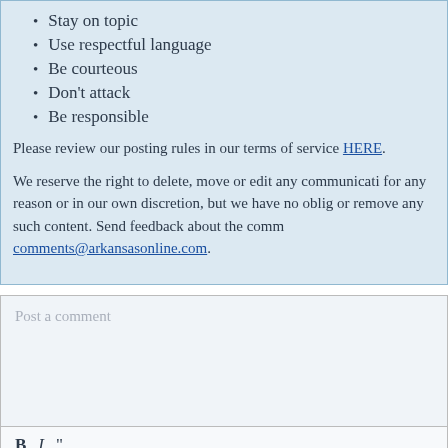Stay on topic
Use respectful language
Be courteous
Don't attack
Be responsible
Please review our posting rules in our terms of service HERE.
We reserve the right to delete, move or edit any communicati... for any reason or in our own discretion, but we have no oblig... or remove any such content. Send feedback about the comm... comments@arkansasonline.com.
Post a comment